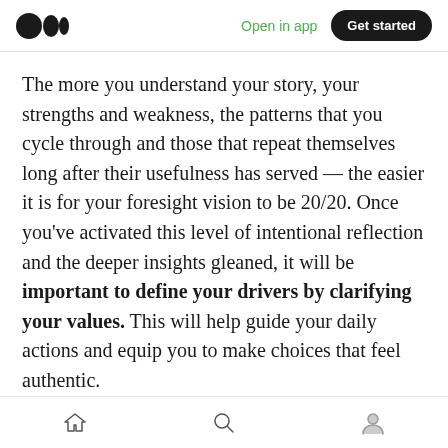Medium logo | Open in app | Get started
The more you understand your story, your strengths and weakness, the patterns that you cycle through and those that repeat themselves long after their usefulness has served — the easier it is for your foresight vision to be 20/20. Once you've activated this level of intentional reflection and the deeper insights gleaned, it will be important to define your drivers by clarifying your values. This will help guide your daily actions and equip you to make choices that feel authentic.

Values are the beliefs, attitudes, and judgments
Home | Search | Profile